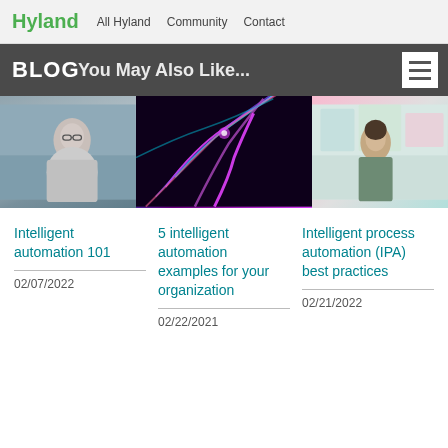Hyland   All Hyland   Community   Contact
BLOG
You May Also Like...
[Figure (photo): Three blog article thumbnail images side by side: left shows a woman with glasses in an office setting, middle shows abstract neon circuit/neural network art in purple and blue, right shows a woman in an office environment.]
Intelligent automation 101
02/07/2022
5 intelligent automation examples for your organization
02/22/2021
Intelligent process automation (IPA) best practices
02/21/2022